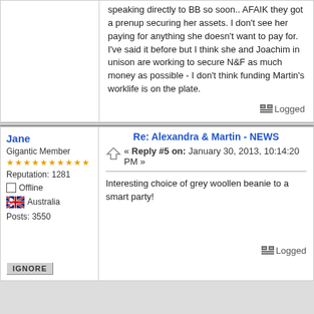speaking directly to BB so soon.. AFAIK they got a prenup securing her assets. I don't see her paying for anything she doesn't want to pay for. I've said it before but I think she and Joachim in unison are working to secure N&F as much money as possible - I don't think funding Martin's worklife is on the plate.
Logged
Jane
Gigantic Member
Reputation: 1281
Offline
Australia
Posts: 3550
Re: Alexandra & Martin - NEWS
« Reply #5 on: January 30, 2013, 10:14:20 PM »
Interesting choice of grey woollen beanie to a smart party!
Logged